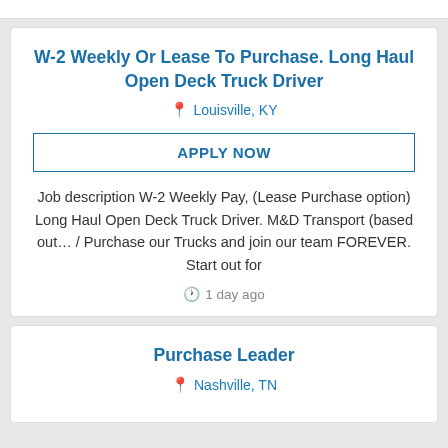W-2 Weekly Or Lease To Purchase. Long Haul Open Deck Truck Driver
Louisville, KY
APPLY NOW
Job description W-2 Weekly Pay, (Lease Purchase option) Long Haul Open Deck Truck Driver. M&D Transport (based out… / Purchase our Trucks and join our team FOREVER. Start out for
1 day ago
Purchase Leader
Nashville, TN